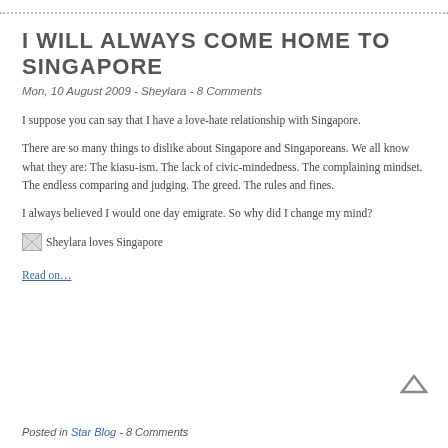I WILL ALWAYS COME HOME TO SINGAPORE
Mon, 10 August 2009 - Sheylara - 8 Comments
I suppose you can say that I have a love-hate relationship with Singapore.
There are so many things to dislike about Singapore and Singaporeans. We all know what they are: The kiasu-ism. The lack of civic-mindedness. The complaining mindset. The endless comparing and judging. The greed. The rules and fines.
I always believed I would one day emigrate. So why did I change my mind?
[Figure (photo): Sheylara loves Singapore - broken image placeholder with icon]
Read on…
Posted in Star Blog - 8 Comments